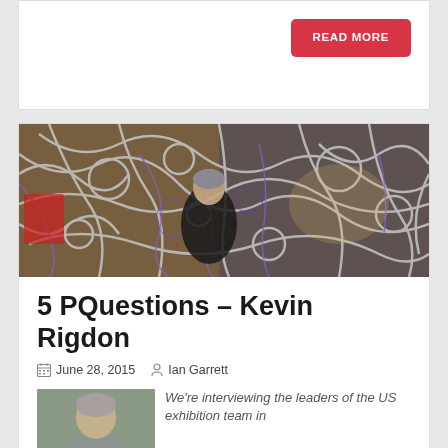READ MORE
[Figure (photo): A person sitting among a complex installation of metal rods and tubes, some with purple lighting, in an art gallery setting.]
5 PQuestions – Kevin Rigdon
June 28, 2015   Ian Garrett
[Figure (photo): Portrait photo of a person (Kevin Rigdon), partially visible.]
We're interviewing the leaders of the US exhibition team in